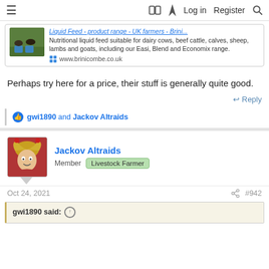≡  [book] [bolt] Log in  Register  [search]
[Figure (screenshot): Ad card showing a thumbnail image of cows and blue containers, with link text 'Liquid Feed - product range - UK farmers - Bri...' and description about nutritional liquid feed, and URL www.brinicombe.co.uk]
Perhaps try here for a price, their stuff is generally quite good.
↩ Reply
👍 gwi1890 and Jackov Altraids
Jackov Altraids
Member  Livestock Farmer
Oct 24, 2021  #942
gwi1890 said: ↑